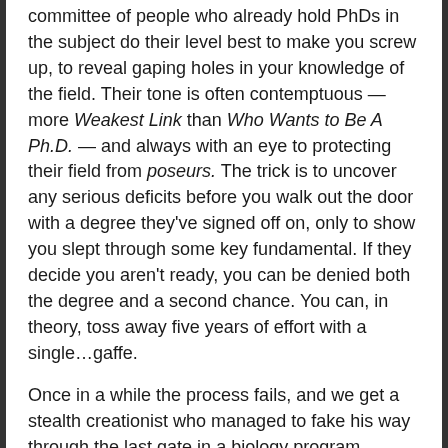committee of people who already hold PhDs in the subject do their level best to make you screw up, to reveal gaping holes in your knowledge of the field. Their tone is often contemptuous — more Weakest Link than Who Wants to Be A Ph.D. — and always with an eye to protecting their field from poseurs. The trick is to uncover any serious deficits before you walk out the door with a degree they've signed off on, only to show you slept through some key fundamental. If they decide you aren't ready, you can be denied both the degree and a second chance. You can, in theory, toss away five years of effort with a single…gaffe.
Once in a while the process fails, and we get a stealth creationist who managed to fake his way through the last gate in a biology program without revealing that he thinks evolution is "just one guy's idea," or a law grad who thinks Marbury vs. Madison was a football game. But the whole purpose of the grueling, humiliating dissertation defense is to find these people out and show them the door.